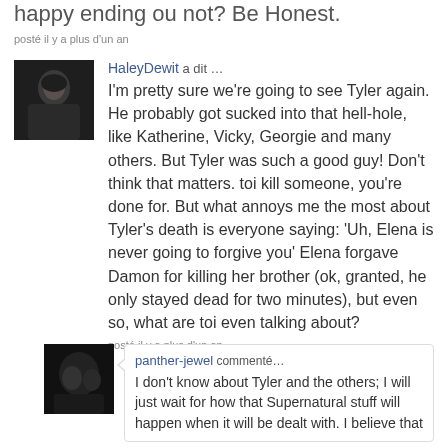happy ending ou not? Be Honest.
posté il y a plus d'un an
HaleyDewit a dit …
I'm pretty sure we're going to see Tyler again. He probably got sucked into that hell-hole, like Katherine, Vicky, Georgie and many others. But Tyler was such a good guy! Don't think that matters. toi kill someone, you're done for. But what annoys me the most about Tyler's death is everyone saying: 'Uh, Elena is never going to forgive you' Elena forgave Damon for killing her brother (ok, granted, he only stayed dead for two minutes), but even so, what are toi even talking about?
posté il y a plus d'un an
panther-jewel commenté…
I don't know about Tyler and the others; I will just wait for how that Supernatural stuff will happen when it will be dealt with. I believe that